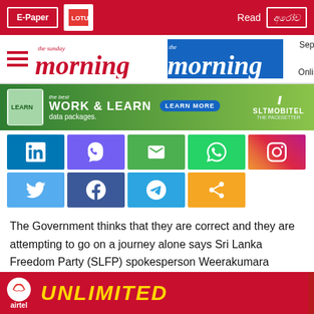E-Paper | Read [Sinhala text]
the sunday morning | the morning | September 1, 2022 | Online edition
[Figure (infographic): SLT Mobitel advertisement banner: Work & Learn data packages with Learn More button]
[Figure (infographic): Social media sharing icons: LinkedIn, Viber, Email, WhatsApp, Instagram, Twitter, Facebook, Telegram, Share]
The Government thinks that they are correct and they are attempting to go on a journey alone says Sri Lanka Freedom Party (SLFP) spokesperson Weerakumara Dissanayake.
He made this statement during a SLFP electorate meeting in Horowpathana yesterday (29).
“The people are questioning whether the Government will collapse… but don’t seem to… people
[Figure (infographic): Airtel advertisement banner with UNLIMITED text in yellow on red background]